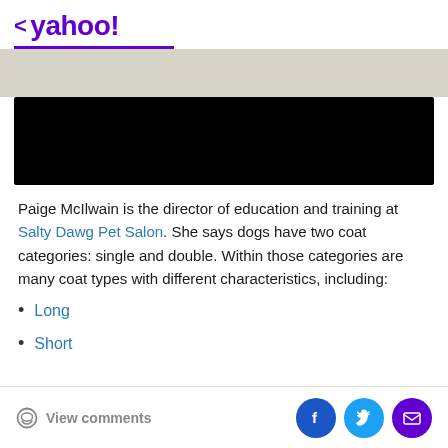< yahoo!
[Figure (photo): Black redacted image/banner area on a beige background]
Paige McIlwain is the director of education and training at Salty Dawg Pet Salon. She says dogs have two coat categories: single and double. Within those categories are many coat types with different characteristics, including:
Long
Short
View comments | Facebook | Twitter | Email